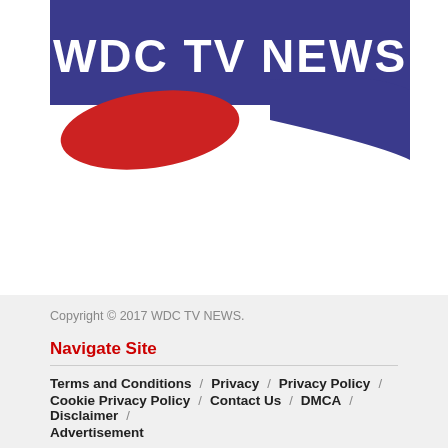[Figure (logo): WDC TV NEWS logo with blue banner and red accent shapes]
Copyright © 2017 WDC TV NEWS.
Navigate Site
Terms and Conditions / Privacy / Privacy Policy / Cookie Privacy Policy / Contact Us / DMCA / Disclaimer / Advertisement
Follow Us